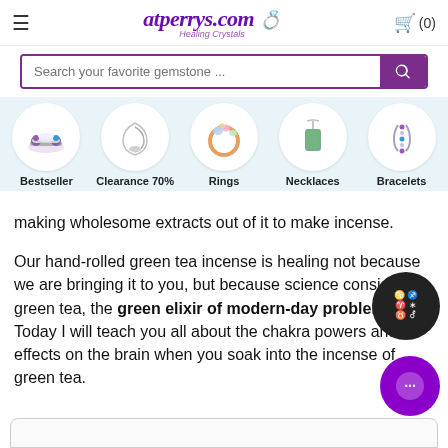atperrys.com Healing Crystals — cart (0)
[Figure (screenshot): Search bar with purple search button and placeholder text 'Search your favorite gemstone ...']
[Figure (infographic): Category navigation strip with 5 circular image thumbnails and labels: Bestseller, Clearance 70%, Rings, Necklaces, Bracelets]
making wholesome extracts out of it to make incense. Our hand-rolled green tea incense is healing not because we are bringing it to you, but because science considers green tea, the green elixir of modern-day problems. Today I will teach you all about the chakra powers and effects on the brain when you soak into the incense of green tea.